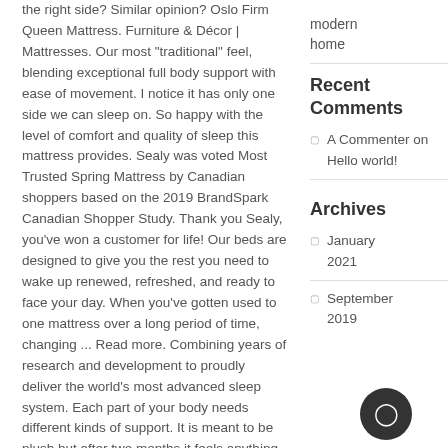the right side? Similar opinion? Oslo Firm Queen Mattress. Furniture & Décor | Mattresses. Our most "traditional" feel, blending exceptional full body support with ease of movement. I notice it has only one side we can sleep on. So happy with the level of comfort and quality of sleep this mattress provides. Sealy was voted Most Trusted Spring Mattress by Canadian shoppers based on the 2019 BrandSpark Canadian Shopper Study. Thank you Sealy, you've won a customer for life! Our beds are designed to give you the rest you need to wake up renewed, refreshed, and ready to face your day. When you've gotten used to one mattress over a long period of time, changing ... Read more. Combining years of research and development to proudly deliver the world's most advanced sleep system. Each part of your body needs different kinds of support. It is meant to be plush but after two months it feels anything but plush. I bought the Sealy Posturepedic Elevate Heritage Mattress for my mum. We are delighted you're happy with your new Sealy Posturepedic Elevate, and that it's had such a positive impact already. Expertly handcrafted with
modern home
Recent Comments
A Commenter on Hello world!
Archives
January 2021
September 2019